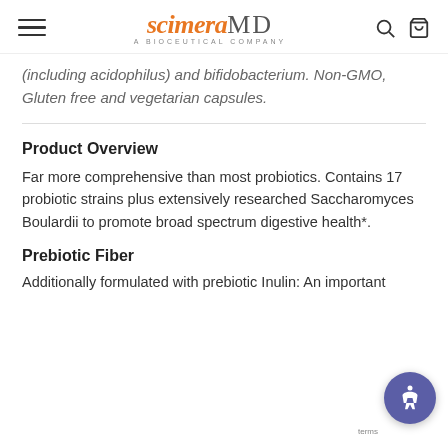scimeraMD - A Bioceutical Company
(including acidophilus) and bifidobacterium. Non-GMO, Gluten free and vegetarian capsules.
Product Overview
Far more comprehensive than most probiotics. Contains 17 probiotic strains plus extensively researched Saccharomyces Boulardii to promote broad spectrum digestive health*.
Prebiotic Fiber
Additionally formulated with prebiotic Inulin: An important